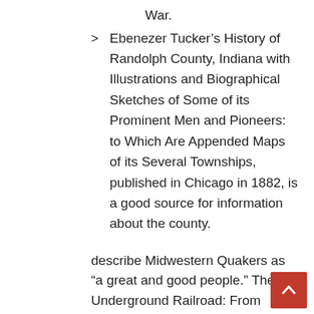War.
Ebenezer Tucker’s History of Randolph County, Indiana with Illustrations and Biographical Sketches of Some of its Prominent Men and Pioneers: to Which Are Appended Maps of its Several Townships, published in Chicago in 1882, is a good source for information about the county.
describe Midwestern Quakers as “a great and good people.” The Underground Railroad: From Slavery to Freedom(New York, 1898), 91; James Oliver Horton, “Freedom’s Yoke: Gender Conventions Among Antebellum Free Blacks,” in Patrick Rafferty, ed., The